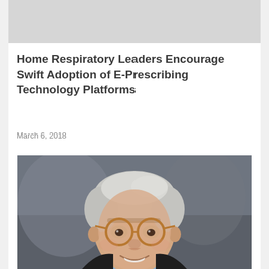[Figure (photo): Gray banner image placeholder at top of page]
Home Respiratory Leaders Encourage Swift Adoption of E-Prescribing Technology Platforms
March 6, 2018
[Figure (photo): Professional headshot of an older gentleman with white/gray hair, wearing round amber-framed glasses, a dark suit jacket, and a light blue shirt, smiling, against a gray background]